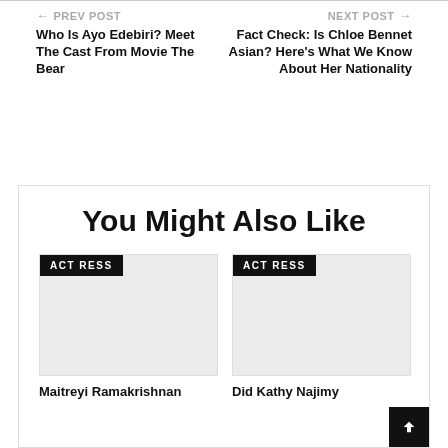← PREV POST
Who Is Ayo Edebiri? Meet The Cast From Movie The Bear
NEXT POST →
Fact Check: Is Chloe Bennet Asian? Here's What We Know About Her Nationality
You Might Also Like
ACTRESS
Maitreyi Ramakrishnan
ACTRESS
Did Kathy Najimy